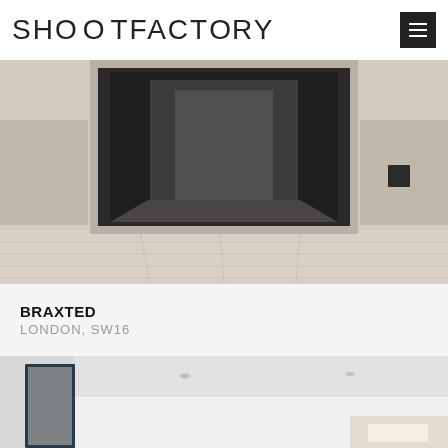SHOOTFACTORY
[Figure (photo): Interior architectural photograph showing a hallway with light wood flooring, cream/beige panelled walls, and a large dark framed glass door or partition in the centre creating a perspective view down the corridor. A dark square panel is visible on the right wall.]
BRAXTED
LONDON, SW16
[Figure (photo): Interior architectural photograph showing a bright white modern room with recessed ceiling spotlights, a window on the left side showing a brick building outside, and a white wall with a skylight visible at the bottom right.]